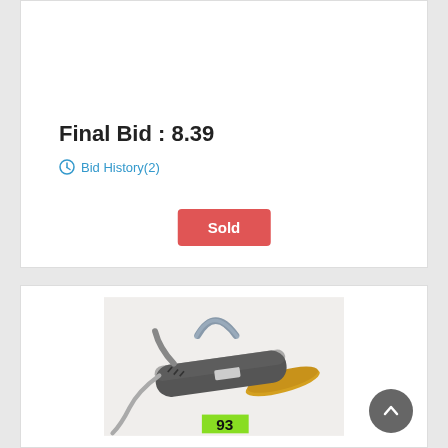Final Bid : 8.39
Bid History(2)
Sold
[Figure (photo): A used power tool (angle grinder or similar) with gray body and yellow disc, lying on a white surface. A green lot tag numbered 93 is visible at the bottom. A scroll-to-top button is overlaid at bottom right.]